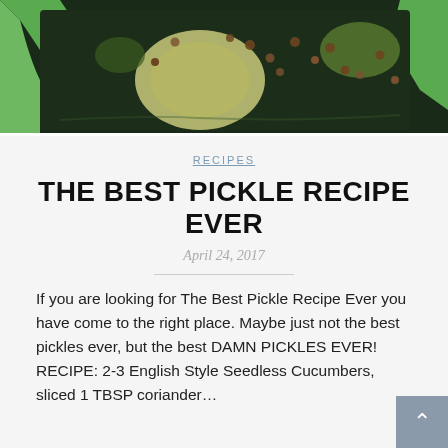[Figure (photo): Close-up photo of pickles with coriander seeds in a green bowl with dark brine]
RECIPES
THE BEST PICKLE RECIPE EVER
April 24, 2017
If you are looking for The Best Pickle Recipe Ever you have come to the right place. Maybe just not the best pickles ever, but the best DAMN PICKLES EVER! RECIPE: 2-3 English Style Seedless Cucumbers, sliced 1 TBSP coriander...